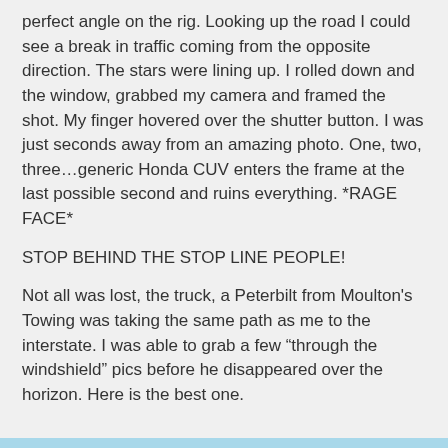perfect angle on the rig. Looking up the road I could see a break in traffic coming from the opposite direction. The stars were lining up. I rolled down and the window, grabbed my camera and framed the shot. My finger hovered over the shutter button. I was just seconds away from an amazing photo. One, two, three…generic Honda CUV enters the frame at the last possible second and ruins everything. *RAGE FACE*
STOP BEHIND THE STOP LINE PEOPLE!
Not all was lost, the truck, a Peterbilt from Moulton's Towing was taking the same path as me to the interstate. I was able to grab a few “through the windshield” pics before he disappeared over the horizon. Here is the best one.